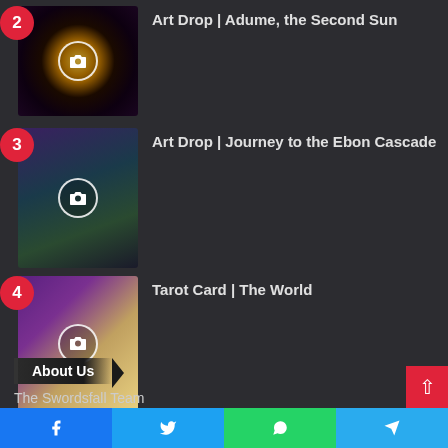2 — Art Drop | Adume, the Second Sun
3 — Art Drop | Journey to the Ebon Cascade
4 — Tarot Card | The World
About Us
The Swordsfall Team
Contact Us
Facebook | Twitter | WhatsApp | Telegram